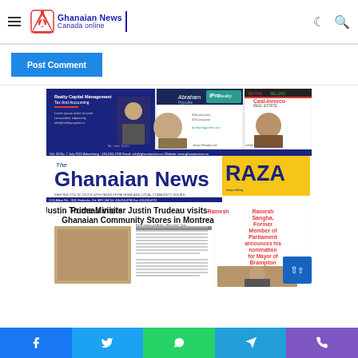Ghanaian News Canada online
Post Comment
[Figure (screenshot): Ghanaian News Canada newspaper front page showing 'Prime Minister Justin Trudeau visits Ghanaian Community Stores in Montreal' headline and 'Ramesh Sangha, Former Member of Parliament announces his nomination for Mayor of Brampton' sidebar]
Facebook  Twitter  WhatsApp  Telegram  Phone